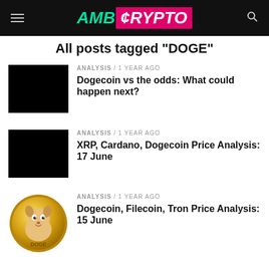AMB CRYPTO
All posts tagged "DOGE"
ANALYSIS / 1 year ago
Dogecoin vs the odds: What could happen next?
ANALYSIS / 1 year ago
XRP, Cardano, Dogecoin Price Analysis: 17 June
ANALYSIS / 1 year ago
Dogecoin, Filecoin, Tron Price Analysis: 15 June